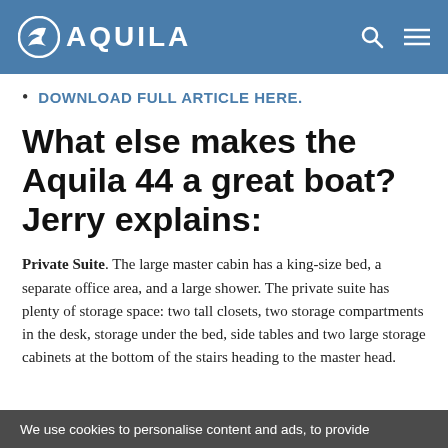AQUILA
DOWNLOAD FULL ARTICLE HERE.
What else makes the Aquila 44 a great boat? Jerry explains:
Private Suite. The large master cabin has a king-size bed, a separate office area, and a large shower. The private suite has plenty of storage space: two tall closets, two storage compartments in the desk, storage under the bed, side tables and two large storage cabinets at the bottom of the stairs heading to the master head.
We use cookies to personalise content and ads, to provide